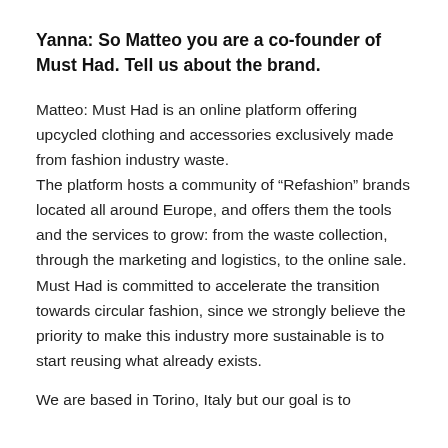Yanna: So Matteo you are a co-founder of Must Had. Tell us about the brand.
Matteo: Must Had is an online platform offering upcycled clothing and accessories exclusively made from fashion industry waste. The platform hosts a community of “Refashion” brands located all around Europe, and offers them the tools and the services to grow: from the waste collection, through the marketing and logistics, to the online sale. Must Had is committed to accelerate the transition towards circular fashion, since we strongly believe the priority to make this industry more sustainable is to start reusing what already exists.
We are based in Torino, Italy but our goal is to